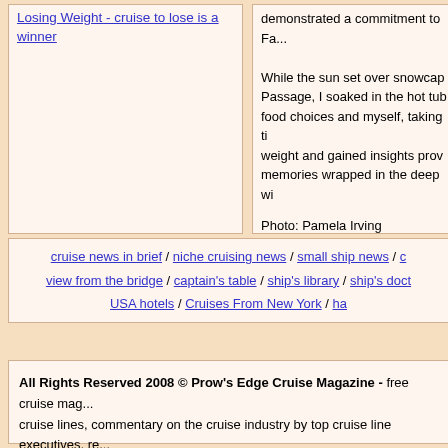Losing Weight - cruise to lose is a winner
demonstrated a commitment to Fa...

While the sun set over snowcap... Passage, I soaked in the hot tub... food choices and myself, taking ti... weight and gained insights prov... memories wrapped in the deep wi...
Photo: Pamela Irving
Pamela Irving is a lifestyle jou... www.travelwriters.com/pamelairvi...
cruise news in brief / niche cruising news / small ship news / c... view from the bridge / captain's table / ship's library / ship's doct... USA hotels / Cruises From New York / ha...
All Rights Reserved 2008 © Prow's Edge Cruise Magazine - free cruise mag... cruise lines, commentary on the cruise industry by top cruise line executives, re... passengers, and suggestions on suitable books on cruising and travel.